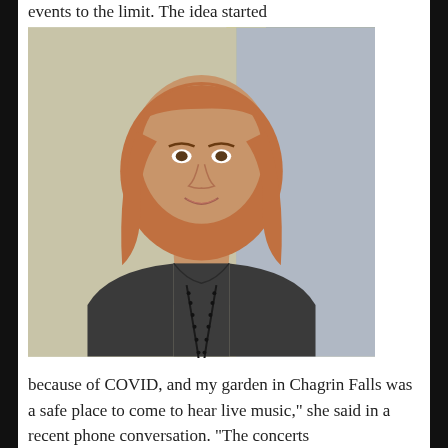events to the limit. The idea started
[Figure (photo): A woman with short reddish-orange hair wearing a dark gray sweater and a long black beaded necklace, smiling, photographed indoors against an office cubicle background with yellow and gray panels.]
because of COVID, and my garden in Chagrin Falls was a safe place to come to hear live music," she said in a recent phone conversation. "The concerts